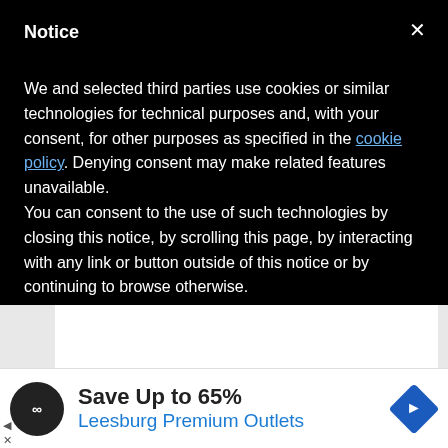Notice
We and selected third parties use cookies or similar technologies for technical purposes and, with your consent, for other purposes as specified in the cookie policy. Denying consent may make related features unavailable.
You can consent to the use of such technologies by closing this notice, by scrolling this page, by interacting with any link or button outside of this notice or by continuing to browse otherwise.
Suddenly, the U.S.'s stock as an international organizer soccer events was on the rise. So were its World Cup
Save Up to 65%
Leesburg Premium Outlets